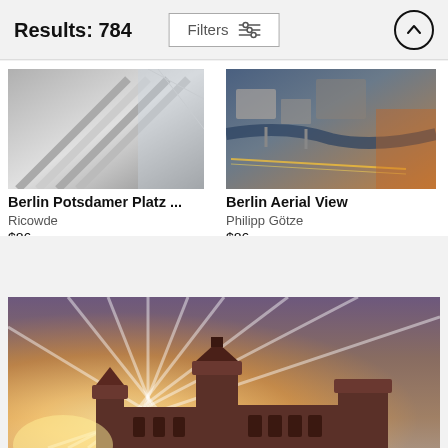Results: 784
[Figure (screenshot): Filters button with sliders icon and scroll-up arrow button in header]
[Figure (photo): Berlin Potsdamer Platz escalators, black and white architectural photo]
Berlin Potsdamer Platz ...
Ricowde
$86
[Figure (photo): Berlin Aerial View, city aerial photo at dusk with river and traffic light trails]
Berlin Aerial View
Philipp Götze
$86
[Figure (photo): Berlin castle/gate building silhouette at sunset with dramatic streaking clouds, warm orange tones]